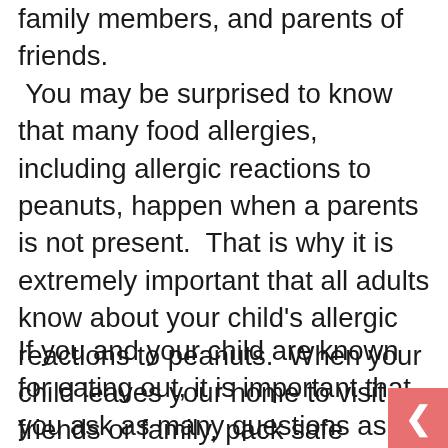family members, and parents of friends. You may be surprised to know that many food allergies, including allergic reactions to peanuts, happen when a parents is not present.  That is why it is extremely important that all adults know about your child's allergic reactions to peanuts.  When your child leaves your home to visit friends or family, pack safe snacks for them to eat.
If you and your child are known for eating out, it is important that you ask as many questions as possible.  You should do so at all eating establishments, but it is particularly important to do at a bakery.  Are all baked goods made in the same